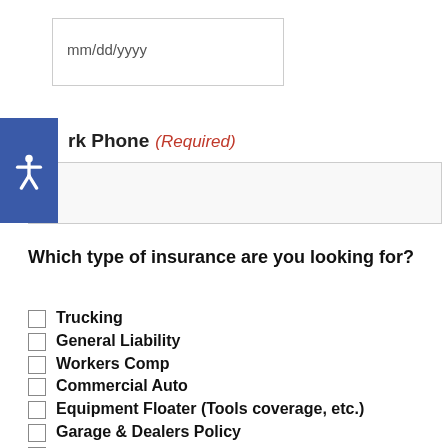mm/dd/yyyy
rk Phone (Required)
Which type of insurance are you looking for?
Trucking
General Liability
Workers Comp
Commercial Auto
Equipment Floater (Tools coverage, etc.)
Garage & Dealers Policy
Professional Liability (E&O)
Property (Building coverage,